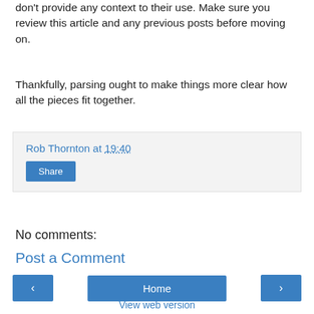don't provide any context to their use. Make sure you review this article and any previous posts before moving on.
Thankfully, parsing ought to make things more clear how all the pieces fit together.
Rob Thornton at 19:40
Share
No comments:
Post a Comment
‹  Home  ›
View web version
About Me
Rob Thornton